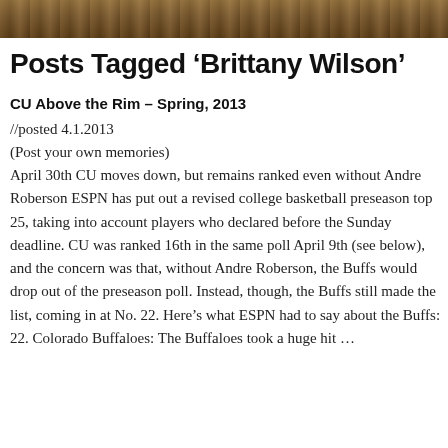[Figure (photo): Partial banner photo at top of page, showing a dark warm-toned image (basketball related)]
Posts Tagged ‘Brittany Wilson’
CU Above the Rim – Spring, 2013
//posted 4.1.2013
(Post your own memories)
April 30th CU moves down, but remains ranked even without Andre Roberson ESPN has put out a revised college basketball preseason top 25, taking into account players who declared before the Sunday deadline. CU was ranked 16th in the same poll April 9th (see below), and the concern was that, without Andre Roberson, the Buffs would drop out of the preseason poll. Instead, though, the Buffs still made the list, coming in at No. 22. Here’s what ESPN had to say about the Buffs: 22. Colorado Buffaloes: The Buffaloes took a huge hit …